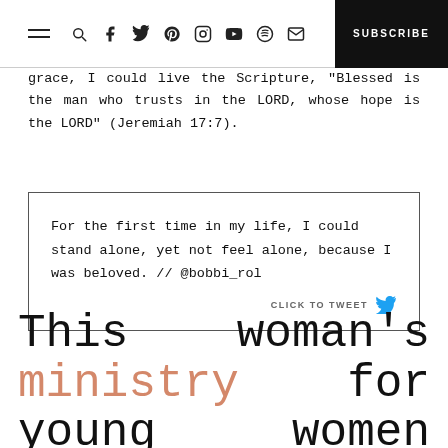SUBSCRIBE
grace, I could live the Scripture, “Blessed is the man who trusts in the LORD, whose hope is the LORD” (Jeremiah 17:7).
For the first time in my life, I could stand alone, yet not feel alone, because I was beloved. // @bobbi_rol
This woman’s ministry for young women includes a beautiful focus on our real